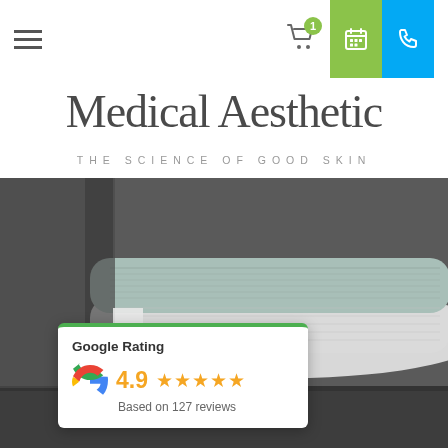Navigation bar with hamburger menu, cart with badge '1', calendar button, phone button
Medical Aesthetic
THE SCIENCE OF GOOD SKIN
[Figure (photo): Close-up photo of folded spa towels in white and sage green/grey tones on a dark treatment table]
Google Rating
4.9 ★★★★★
Based on 127 reviews